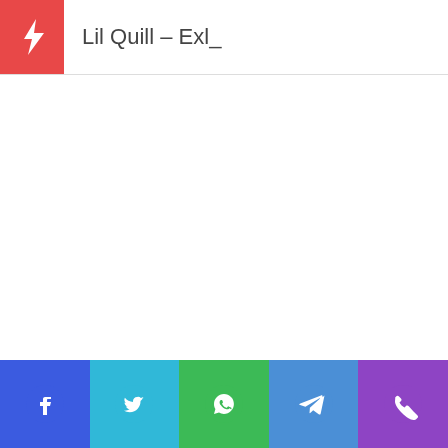Lil Quill – Exl_
[Figure (infographic): Social sharing bar with Facebook, Twitter, WhatsApp, Telegram, and Phone icons on colored background buttons]